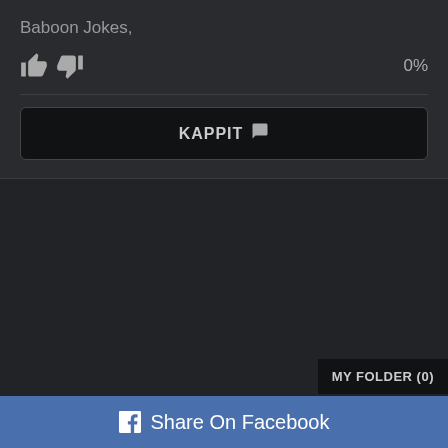Baboon Jokes,
0%
KAPPIT 💬
MY FOLDER (0)
Share On Facebook